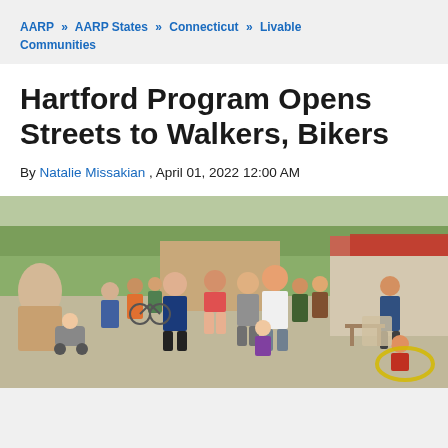AARP » AARP States » Connecticut » Livable Communities
Hartford Program Opens Streets to Walkers, Bikers
By Natalie Missakian , April 01, 2022 12:00 AM
[Figure (photo): Outdoor street scene with many people walking, including families with children and strollers, on a closed street with trees and storefronts in the background. A child on the right is playing with a yellow hula hoop. A red tent canopy is visible on the right side.]